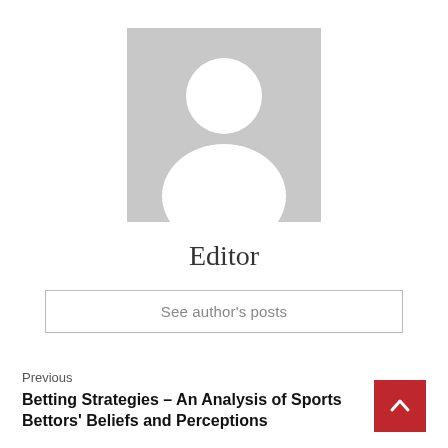[Figure (illustration): Generic user avatar placeholder: grey square with white silhouette of a person (circle head, rounded shoulders)]
Editor
See author's posts
Previous
Betting Strategies – An Analysis of Sports Bettors' Beliefs and Perceptions